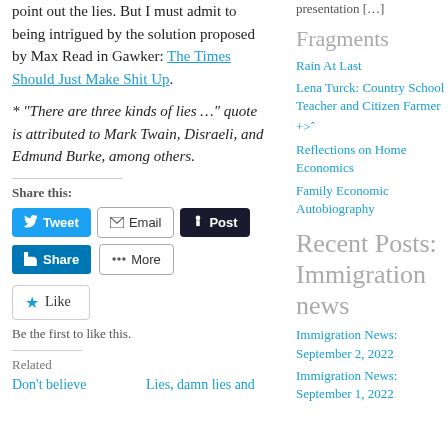point out the lies. But I must admit to being intrigued by the solution proposed by Max Read in Gawker: The Times Should Just Make Shit Up.
* “There are three kinds of lies …” quote is attributed to Mark Twain, Disraeli, and Edmund Burke, among others.
Share this:
Tweet | Email | Post | Share | More
Like | Be the first to like this.
Related
Don’t believe
Lies, damn lies and
presentation […]
Fragments
Rain At Last
Lena Turck: Country School Teacher and Citizen Farmer
+>ˆ
Reflections on Home Economics
Family Economic Autobiography
Recent Posts: Immigration news
Immigration News: September 2, 2022
Immigration News: September 1, 2022